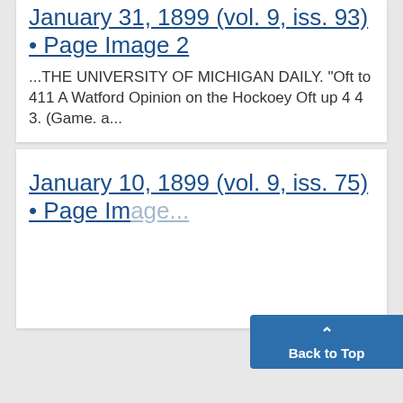January 31, 1899 (vol. 9, iss. 93) • Page Image 2
...THE UNIVERSITY OF MICHIGAN DAILY. "Oft to 411 A Watford Opinion on the Hockoey Oft up 4 4 3. (Game. a...
January 10, 1899 (vol. 9, iss. 75) • Page Image...